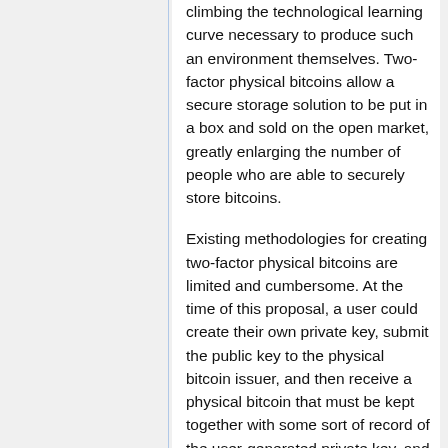climbing the technological learning curve necessary to produce such an environment themselves. Two-factor physical bitcoins allow a secure storage solution to be put in a box and sold on the open market, greatly enlarging the number of people who are able to securely store bitcoins.
Existing methodologies for creating two-factor physical bitcoins are limited and cumbersome. At the time of this proposal, a user could create their own private key, submit the public key to the physical bitcoin issuer, and then receive a physical bitcoin that must be kept together with some sort of record of the user-generated private key, and finally, must be redeemed through a tool. The fact that the physical bitcoin must be kept together with a user-produced